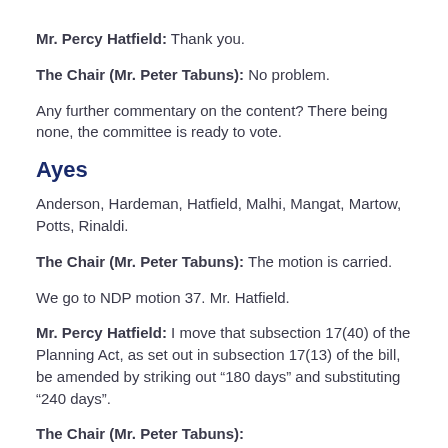Mr. Percy Hatfield: Thank you.
The Chair (Mr. Peter Tabuns): No problem.
Any further commentary on the content? There being none, the committee is ready to vote.
Ayes
Anderson, Hardeman, Hatfield, Malhi, Mangat, Martow, Potts, Rinaldi.
The Chair (Mr. Peter Tabuns): The motion is carried.
We go to NDP motion 37. Mr. Hatfield.
Mr. Percy Hatfield: I move that subsection 17(40) of the Planning Act, as set out in subsection 17(13) of the bill, be amended by striking out “180 days” and substituting “240 days”.
The Chair (Mr. Peter Tabuns):